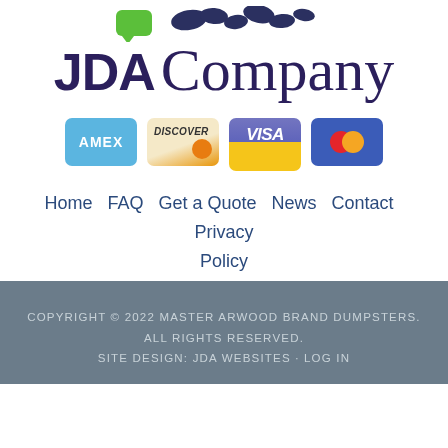[Figure (logo): JDA Company logo with stylized icons at top and large brand name text]
[Figure (infographic): Payment method icons: AMEX, Discover, Visa, Mastercard]
Home  FAQ  Get a Quote  News  Contact  Privacy Policy
COPYRIGHT © 2022 MASTER ARWOOD BRAND DUMPSTERS. ALL RIGHTS RESERVED. SITE DESIGN: JDA WEBSITES · LOG IN